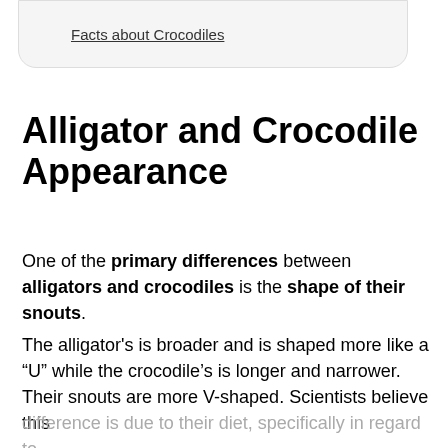Facts about Crocodiles
Alligator and Crocodile Appearance
One of the primary differences between alligators and crocodiles is the shape of their snouts.
The alligator's is broader and is shaped more like a “U” while the crocodile’s is longer and narrower. Their snouts are more V-shaped. Scientists believe this difference is due to their diet, specifically in regard to